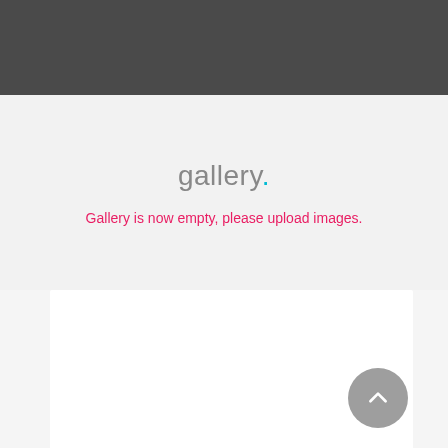[Figure (screenshot): Dark gray header bar at the top of the page]
gallery.
Gallery is now empty, please upload images.
Our Team.
Jennifer Hudson, CEO